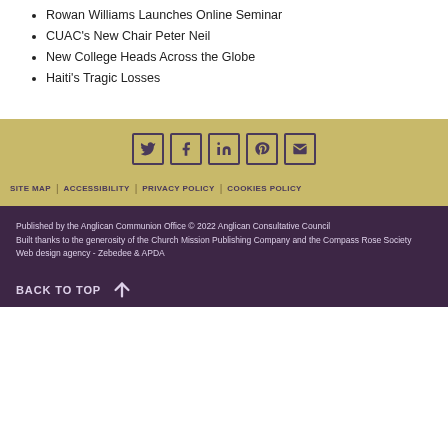Rowan Williams Launches Online Seminar
CUAC's New Chair Peter Neil
New College Heads Across the Globe
Haiti's Tragic Losses
[Figure (other): Social media icons: Twitter, Facebook, LinkedIn, Pinterest, Email — dark purple outlined squares on gold background]
SITE MAP | ACCESSIBILITY | PRIVACY POLICY | COOKIES POLICY
Published by the Anglican Communion Office © 2022 Anglican Consultative Council
Built thanks to the generosity of the Church Mission Publishing Company and the Compass Rose Society
Web design agency - Zebedee & APDA
BACK TO TOP